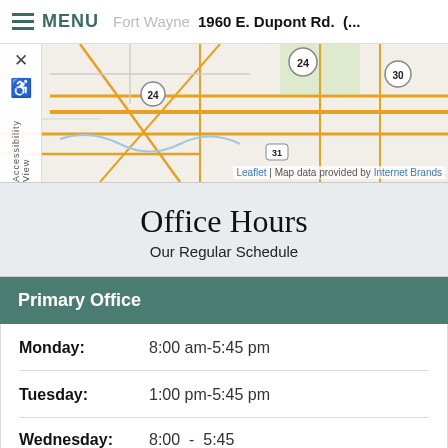MENU  Fort Wayne  1960 E. Dupont Rd.  (...
[Figure (map): Street map of Fort Wayne area showing routes 24 and 30, with Leaflet attribution and Internet Brands map data.]
Office Hours
Our Regular Schedule
Primary Office
| Day | Hours |
| --- | --- |
| Monday: | 8:00 am-5:45 pm |
| Tuesday: | 1:00 pm-5:45 pm |
| Wednesday: | 8:00  -  5:45 |